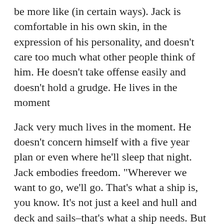be more like (in certain ways). Jack is comfortable in his own skin, in the expression of his personality, and doesn't care too much what other people think of him. He doesn't take offense easily and doesn't hold a grudge. He lives in the moment
Jack very much lives in the moment. He doesn't concern himself with a five year plan or even where he'll sleep that night. Jack embodies freedom. "Wherever we want to go, we'll go. That's what a ship is, you know. It's not just a keel and hull and deck and sails–that's what a ship needs. But what a ship is–what the Black Pearl really is–is freedom." Jack has simple wants: to be a pirate and to be captain of the Black Pearl. Most of us, in some way, long for that kind of free-spirited freedom, ability to laugh at ourselves, own our eccentricities and quirks, and care less what people think of us